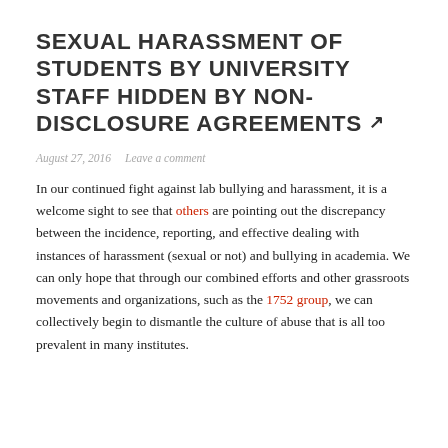SEXUAL HARASSMENT OF STUDENTS BY UNIVERSITY STAFF HIDDEN BY NON-DISCLOSURE AGREEMENTS ↗
August 27, 2016   Leave a comment
In our continued fight against lab bullying and harassment, it is a welcome sight to see that others are pointing out the discrepancy between the incidence, reporting, and effective dealing with instances of harassment (sexual or not) and bullying in academia. We can only hope that through our combined efforts and other grassroots movements and organizations, such as the 1752 group, we can collectively begin to dismantle the culture of abuse that is all too prevalent in many institutes.